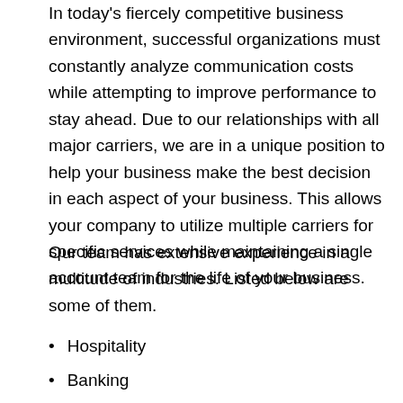In today's fiercely competitive business environment, successful organizations must constantly analyze communication costs while attempting to improve performance to stay ahead. Due to our relationships with all major carriers, we are in a unique position to help your business make the best decision in each aspect of your business. This allows your company to utilize multiple carriers for specific services while maintaining a single account team for the life of your business.
Our team has extensive experience in a multitude of industries. Listed below are some of them.
Hospitality
Banking